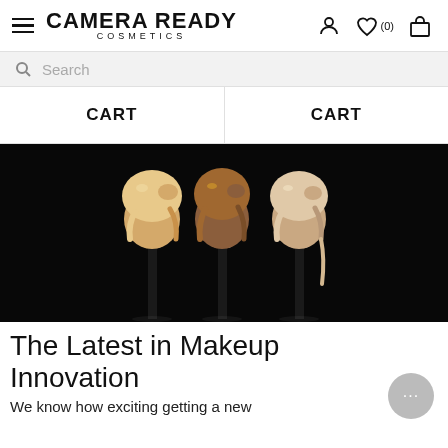CAMERA READY COSMETICS
Search
CART   CART
[Figure (photo): Three makeup brushes on a black background, each loaded with a different shade of foundation — beige/ivory, medium brown, and light/nude — dripping down the bristles]
The Latest in Makeup Innovation
We know how exciting getting a new